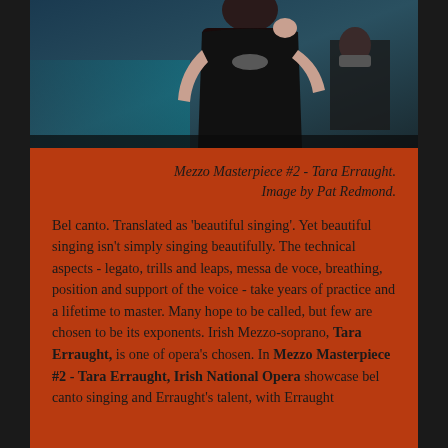[Figure (photo): Photo of Tara Erraught, a woman in a black formal outfit with jewelry, standing at what appears to a performance venue. Another person wearing a mask is visible in the background.]
Mezzo Masterpiece #2 - Tara Erraught. Image by Pat Redmond.
Bel canto. Translated as 'beautiful singing'. Yet beautiful singing isn't simply singing beautifully. The technical aspects - legato, trills and leaps, messa de voce, breathing, position and support of the voice - take years of practice and a lifetime to master. Many hope to be called, but few are chosen to be its exponents. Irish Mezzo-soprano, Tara Erraught, is one of opera's chosen. In Mezzo Masterpiece #2 - Tara Erraught, Irish National Opera showcase bel canto singing and Erraught's talent, with Erraught